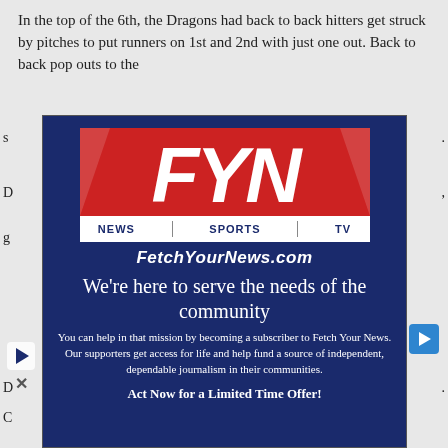In the top of the 6th, the Dragons had back to back hitters get struck by pitches to put runners on 1st and 2nd with just one out. Back to back pop outs to the s...
[Figure (logo): FetchYourNews.com advertisement overlay with FYN logo (red background with white italic letters F, Y, N), NEWS SPORTS TV bar, site URL FetchYourNews.com, tagline 'We're here to serve the needs of the community', subscription call-to-action text, and 'Act Now for a Limited Time Offer!' button area. Dark navy blue background.]